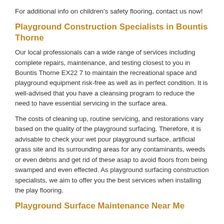For additional info on children's safety flooring, contact us now!
Playground Construction Specialists in Bountis Thorne
Our local professionals can a wide range of services including complete repairs, maintenance, and testing closest to you in Bountis Thorne EX22 7 to maintain the recreational space and playground equipment risk-free as well as in perfect condition. It is well-advised that you have a cleansing program to reduce the need to have essential servicing in the surface area.
The costs of cleaning up, routine servicing, and restorations vary based on the quality of the playground surfacing. Therefore, it is advisable to check your wet pour playground surface, artificial grass site and its surrounding areas for any contaminants, weeds or even debris and get rid of these asap to avoid floors from being swamped and even effected. As playground surfacing construction specialists, we aim to offer you the best services when installing the play flooring.
Playground Surface Maintenance Near Me